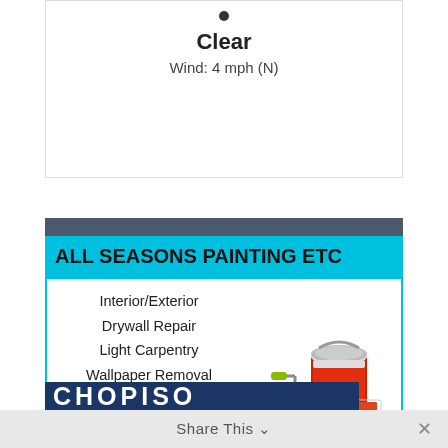Clear
Wind: 4 mph (N)
[Figure (illustration): Advertisement for All Seasons Painting Etc showing paint can, roller and color swatches illustration]
ALL SEASONS PAINTING ETC
Interior/Exterior
Drywall Repair
Light Carpentry
Wallpaper Removal
Pressure Washing and Decks
419-624-0383
Share This ∨  ×